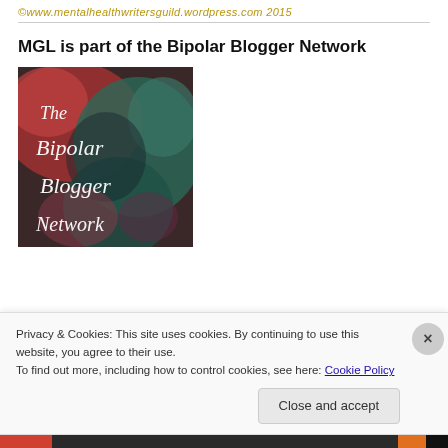©www.mentalhealthwritersguild.wordpress.com 2015
MGL is part of the Bipolar Blogger Network
[Figure (illustration): The Bipolar Blogger Network logo — a square image with abstract painted background in red, teal, and dark tones, with white cursive/script text reading 'The Bipolar Blogger Network']
Privacy & Cookies: This site uses cookies. By continuing to use this website, you agree to their use.
To find out more, including how to control cookies, see here: Cookie Policy
Close and accept